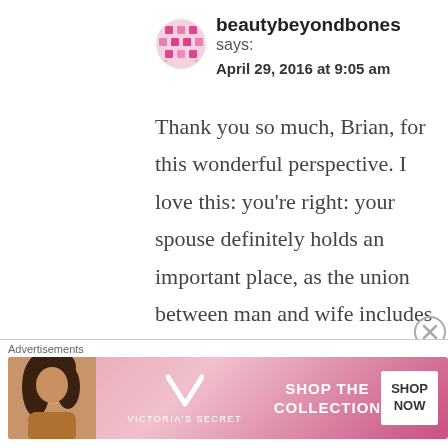[Figure (logo): Circular avatar icon with pink/magenta mosaic/grid pattern]
beautybeyondbones
says:
April 29, 2016 at 9:05 am
Thank you so much, Brian, for this wonderful perspective. I love this: you're right: your spouse definitely holds an important place, as the union between man and wife includes God. Thanks for this great insight...
Advertisements
[Figure (infographic): Victoria's Secret advertisement banner with model photo, VS logo, 'SHOP THE COLLECTION' text, and 'SHOP NOW' button]